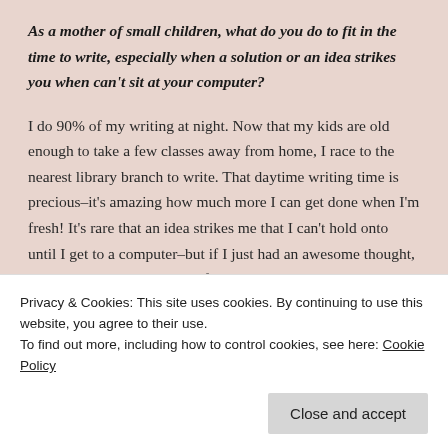As a mother of small children, what do you do to fit in the time to write, especially when a solution or an idea strikes you when can't sit at your computer?
I do 90% of my writing at night. Now that my kids are old enough to take a few classes away from home, I race to the nearest library branch to write. That daytime writing time is precious–it's amazing how much more I can get done when I'm fresh! It's rare that an idea strikes me that I can't hold onto until I get to a computer–but if I just had an awesome thought, I do the old pen-and-scrap-of-paper
Privacy & Cookies: This site uses cookies. By continuing to use this website, you agree to their use.
To find out more, including how to control cookies, see here: Cookie Policy
Close and accept
challenges. Can you speak to what themes you